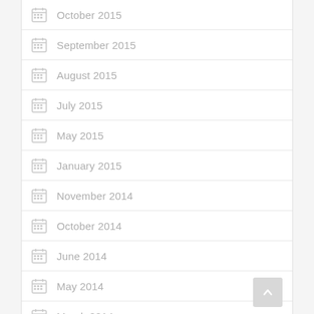October 2015
September 2015
August 2015
July 2015
May 2015
January 2015
November 2014
October 2014
June 2014
May 2014
March 2014